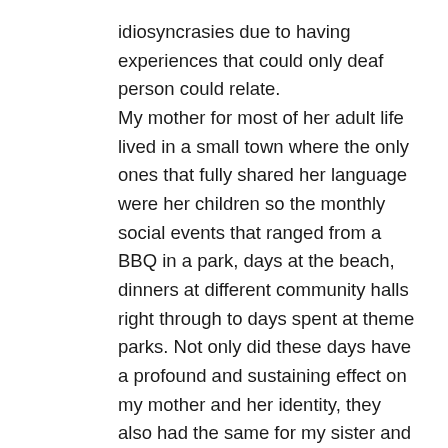idiosyncrasies due to having experiences that could only deaf person could relate. My mother for most of her adult life lived in a small town where the only ones that fully shared her language were her children so the monthly social events that ranged from a BBQ in a park, days at the beach, dinners at different community halls right through to days spent at theme parks. Not only did these days have a profound and sustaining effect on my mother and her identity, they also had the same for my sister and myself who also found ourselves as part of another community very closely attached to the deaf community, the CODAs. We found friendships with children who had similar experiences to ourselves in having parents that so often needed us to be the interpreter or intermediary in an adult world that was many times very unkind,